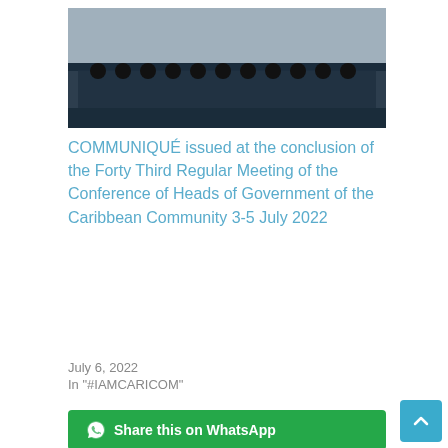[Figure (photo): Group photo of attendees at the Caribbean Community Heads of Government meeting, showing a large group of people standing in front of a blue curtain backdrop]
COMMUNIQUÉ issued at the conclusion of the Forty Third Regular Meeting of the Conference of Heads of Government of the Caribbean Community 3-5 July 2022
July 6, 2022
In "#IAMCARICOM"
[Figure (other): Green WhatsApp share button with WhatsApp icon and text 'Share this on WhatsApp']
CARICOM-Colombia relations
CARICOM-Colombia Trade Economic and Technical Cooperation Agreement
Colombian Foreign Minister
disaster management
trade and economic
[Figure (other): Blue back-to-top button with upward arrow icon]